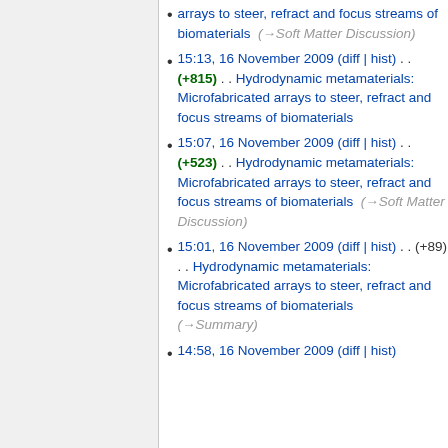arrays to steer, refract and focus streams of biomaterials  (→Soft Matter Discussion)
15:13, 16 November 2009 (diff | hist) . . (+815) . . Hydrodynamic metamaterials: Microfabricated arrays to steer, refract and focus streams of biomaterials
15:07, 16 November 2009 (diff | hist) . . (+523) . . Hydrodynamic metamaterials: Microfabricated arrays to steer, refract and focus streams of biomaterials  (→Soft Matter Discussion)
15:01, 16 November 2009 (diff | hist) . . (+89) . . Hydrodynamic metamaterials: Microfabricated arrays to steer, refract and focus streams of biomaterials  (→Summary)
14:58, 16 November 2009 (diff | hist)